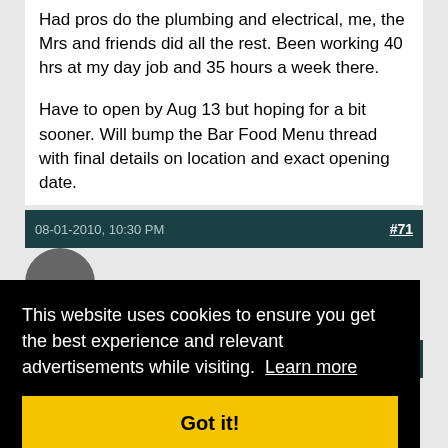Had pros do the plumbing and electrical, me, the Mrs and friends did all the rest. Been working 40 hrs at my day job and 35 hours a week there.

Have to open by Aug 13 but hoping for a bit sooner. Will bump the Bar Food Menu thread with final details on location and exact opening date.
08-01-2010, 10:30 PM  #71
#72
Sarpal Gunnel
This website uses cookies to ensure you get the best experience and relevant advertisements while visiting. Learn more
Got it!